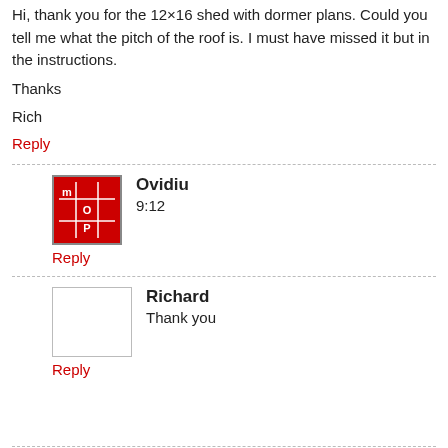Hi, thank you for the 12×16 shed with dormer plans. Could you tell me what the pitch of the roof is. I must have missed it but in the instructions.
Thanks
Rich
Reply
Ovidiu
9:12
Reply
Richard
Thank you
Reply